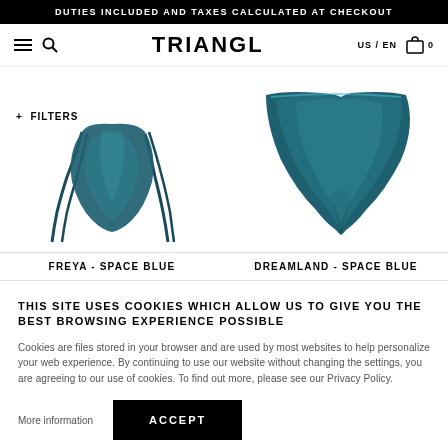DUTIES INCLUDED AND TAXES CALCULATED AT CHECKOUT
[Figure (screenshot): TRIANGL website navigation bar with hamburger menu, search icon, TRIANGL logo, US/EN locale selector, and cart icon with 0 items]
[Figure (photo): Two teal/space blue bikini bottoms: Freya - Space Blue (tie-side) on left, Dreamland - Space Blue on right]
+ FILTERS
FREYA - SPACE BLUE
DREAMLAND - SPACE BLUE
THIS SITE USES COOKIES WHICH ALLOW US TO GIVE YOU THE BEST BROWSING EXPERIENCE POSSIBLE
Cookies are files stored in your browser and are used by most websites to help personalize your web experience. By continuing to use our website without changing the settings, you are agreeing to our use of cookies. To find out more, please see our Privacy Policy.
More information
ACCEPT